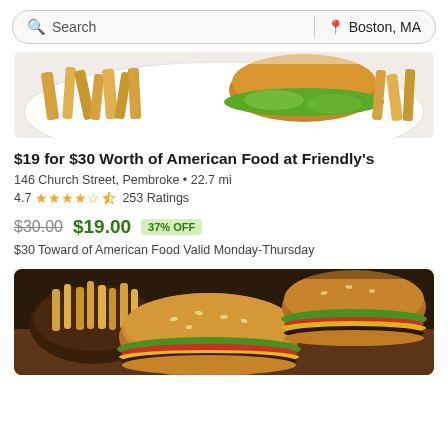Search | Boston, MA
[Figure (photo): Cropped photo of a burger with lettuce on a bun and a plate of french fries, shot from above on a white plate, partially visible at top of page.]
$19 for $30 Worth of American Food at Friendly's
146 Church Street, Pembroke • 22.7 mi
4.7 ★★★★½ 253 Ratings
$30.00  $19.00  37% OFF
$30 Toward of American Food Valid Monday-Thursday
[Figure (photo): Close-up photo of two sesame seed hamburgers with cheese, tomato, lettuce, and a side of french fries in a wooden bowl in the background.]